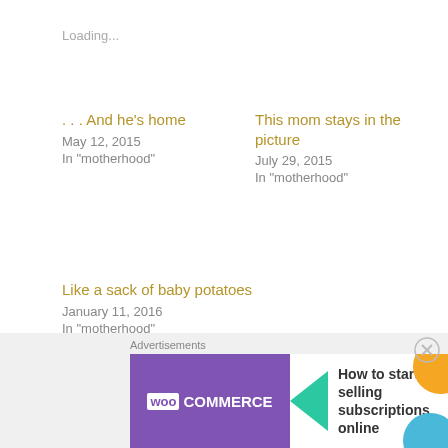Loading...
. . . And he's home
May 12, 2015
In "motherhood"
This mom stays in the picture
July 29, 2015
In "motherhood"
Like a sack of baby potatoes
January 11, 2016
In "motherhood"
motherhood
Advertisements
[Figure (other): WooCommerce advertisement banner: 'How to start selling subscriptions online']